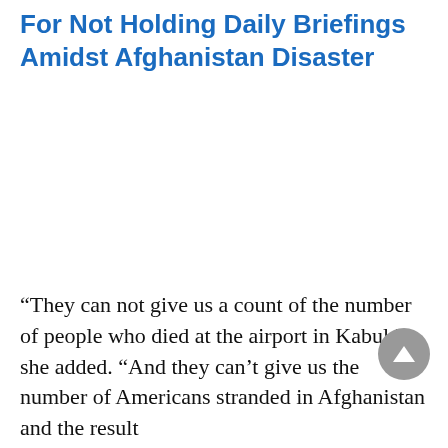For Not Holding Daily Briefings Amidst Afghanistan Disaster
“They can not give us a count of the number of people who died at the airport in Kabul,” she added. “And they can’t give us the number of Americans stranded in Afghanistan and the result